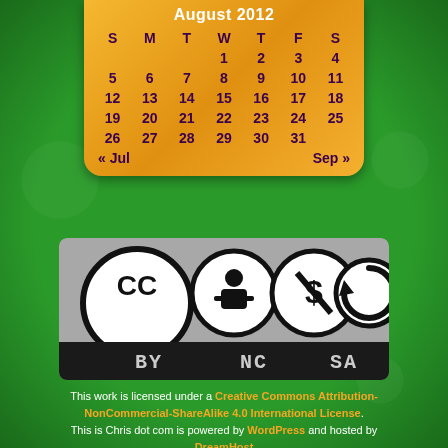| S | M | T | W | T | F | S |
| --- | --- | --- | --- | --- | --- | --- |
|  |  |  | 1 | 2 | 3 | 4 |
| 5 | 6 | 7 | 8 | 9 | 10 | 11 |
| 12 | 13 | 14 | 15 | 16 | 17 | 18 |
| 19 | 20 | 21 | 22 | 23 | 24 | 25 |
| 26 | 27 | 28 | 29 | 30 | 31 |  |
[Figure (logo): Creative Commons BY-NC-SA license badge showing CC logo, person icon, dollar-with-slash icon, and circular arrow icon with BY NC SA labels]
This work is licensed under a Creative Commons Attribution-NonCommercial-ShareAlike 4.0 International License. This is Chris dot com is powered by WordPress and hosted by DreamHost.